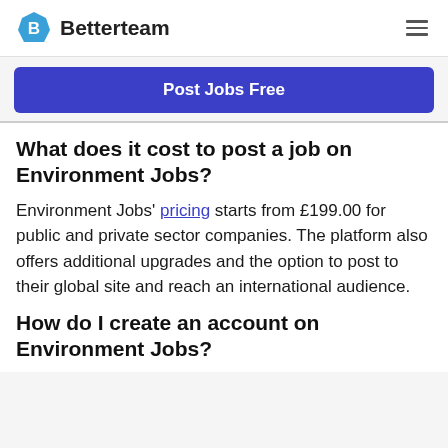Betterteam
Post Jobs Free
What does it cost to post a job on Environment Jobs?
Environment Jobs' pricing starts from £199.00 for public and private sector companies. The platform also offers additional upgrades and the option to post to their global site and reach an international audience.
How do I create an account on Environment Jobs?